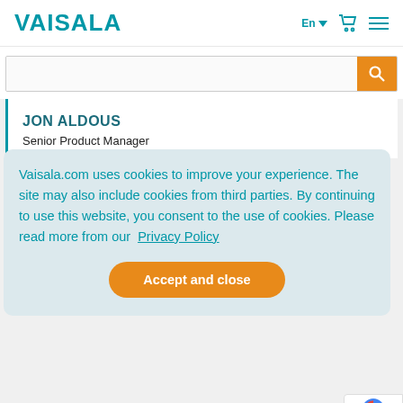VAISALA
JON ALDOUS
Senior Product Manager
Vaisala.com uses cookies to improve your experience. The site may also include cookies from third parties. By continuing to use this website, you consent to the use of cookies. Please read more from our Privacy Policy
Accept and close
He also worked on the development of